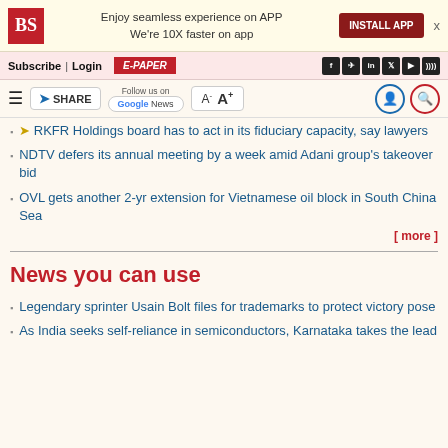Enjoy seamless experience on APP | We're 10X faster on app | INSTALL APP
Subscribe | Login | E-PAPER
SHARE | Follow us on Google News | A- A+
RKFR Holdings board has to act in its fiduciary capacity, say lawyers
NDTV defers its annual meeting by a week amid Adani group's takeover bid
OVL gets another 2-yr extension for Vietnamese oil block in South China Sea
[ more ]
News you can use
Legendary sprinter Usain Bolt files for trademarks to protect victory pose
As India seeks self-reliance in semiconductors, Karnataka takes the lead